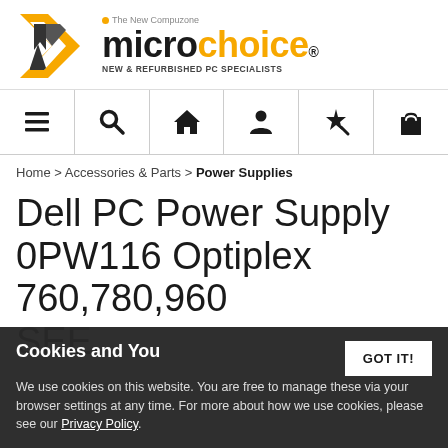[Figure (logo): Microchoice logo with yellow and black stylized M icon, 'microchoice' text in black and yellow, tagline 'NEW & REFURBISHED PC SPECIALISTS', subtitle 'The New Compuzone']
[Figure (infographic): Navigation bar with 6 icons: hamburger menu, search/magnifying glass, home/house, user/person, magic wand/star, shopping bag]
Home > Accessories & Parts > Power Supplies
Dell PC Power Supply 0PW116 Optiplex 760,780,960 SEE
Cookies and You
We use cookies on this website. You are free to manage these via your browser settings at any time. For more about how we use cookies, please see our Privacy Policy.